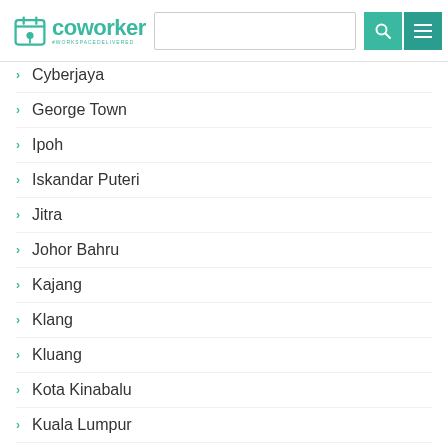Coworker - #WORKSPACEDELIVERED
Cyberjaya
George Town
Ipoh
Iskandar Puteri
Jitra
Johor Bahru
Kajang
Klang
Kluang
Kota Kinabalu
Kuala Lumpur
Kuching
Kulai
Labuan
Langkawi